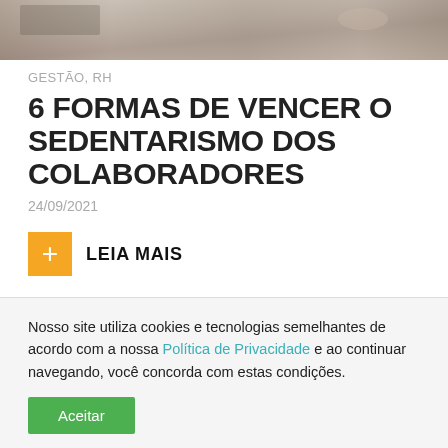[Figure (photo): Banner photo of a person working at a desk with glasses/office setting]
GESTÃO, RH
6 FORMAS DE VENCER O SEDENTARISMO DOS COLABORADORES
24/09/2021
+ LEIA MAIS
Nosso site utiliza cookies e tecnologias semelhantes de acordo com a nossa Política de Privacidade e ao continuar navegando, você concorda com estas condições.
Aceitar